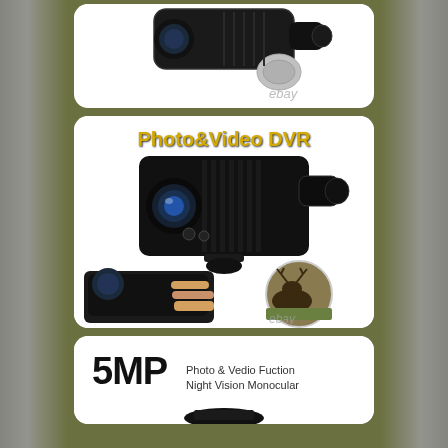[Figure (photo): Top card showing a night vision monocular device and lens cap, with 'ebay' watermark]
[Figure (photo): Middle card titled 'Photo&Video DVR' showing a night vision monocular device from multiple angles: main large device, hand-held view, and circular view through monocular showing a deer in a field. 'ebay' watermark visible.]
[Figure (photo): Bottom card showing '5MP Photo & Vedio Fuction Night Vision Monocular' text and partial view of monocular base/mount]